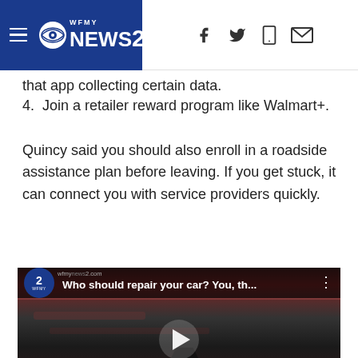WFMY NEWS 2
that app collecting certain data.
4. Join a retailer reward program like Walmart+.
Quincy said you should also enroll in a roadside assistance plan before leaving. If you get stuck, it can connect you with service providers quickly.
[Figure (screenshot): Embedded video thumbnail showing WFMY News 2 logo with title 'Who should repair your car? You, th...' and a play button over a dark image of a mechanic working under a car.]